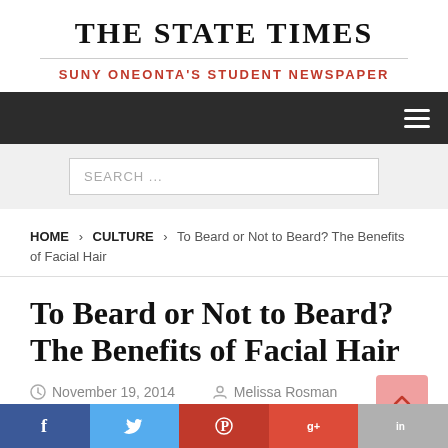THE STATE TIMES
SUNY ONEONTA'S STUDENT NEWSPAPER
SEARCH ...
HOME > CULTURE > To Beard or Not to Beard? The Benefits of Facial Hair
To Beard or Not to Beard? The Benefits of Facial Hair
November 19, 2014   Melissa Rosman